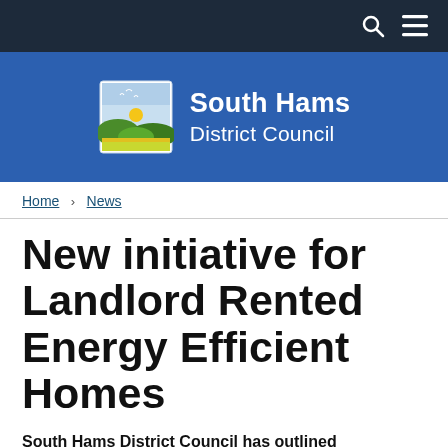South Hams District Council
[Figure (logo): South Hams District Council logo with landscape emblem showing hills, sun and birds, next to text 'South Hams District Council' in white on blue background]
Home > News
New initiative for Landlord Rented Energy Efficient Homes
South Hams District Council has outlined